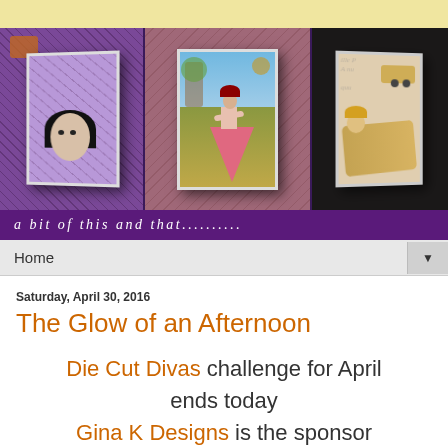[Figure (illustration): Blog header with three decorative handmade greeting cards displayed against dark purple background. Left card shows a woman's face with dark hair on purple textured background. Center card shows a lady in a pink/red ruffled dress viewed from behind, set against blue sky and garden scene. Right card shows a mermaid or reclining lady figure with vintage script writing background.]
a bit of this and that..........
Home
Saturday, April 30, 2016
The Glow of an Afternoon
Die Cut Divas challenge for April ends today Gina K Designs is the sponsor